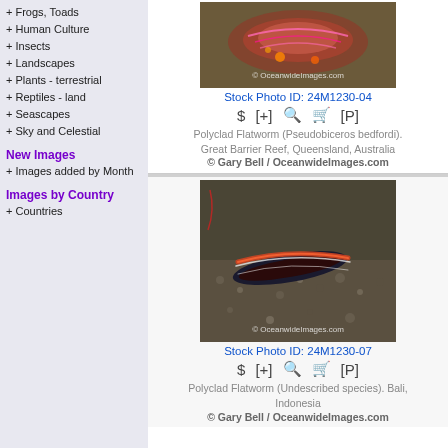+ Frogs, Toads
+ Human Culture
+ Insects
+ Landscapes
+ Plants - terrestrial
+ Reptiles - land
+ Seascapes
+ Sky and Celestial
New Images
+ Images added by Month
Images by Country
+ Countries
[Figure (photo): Polyclad Flatworm on coral reef with OceanwideImages.com watermark, top photo]
Stock Photo ID: 24M1230-04
Polyclad Flatworm (Pseudobiceros bedfordi). Great Barrier Reef, Queensland, Australia © Gary Bell / OceanwideImages.com
[Figure (photo): Polyclad Flatworm on sandy substrate with OceanwideImages.com watermark, bottom photo]
Stock Photo ID: 24M1230-07
Polyclad Flatworm (Undescribed species). Bali, Indonesia © Gary Bell / OceanwideImages.com